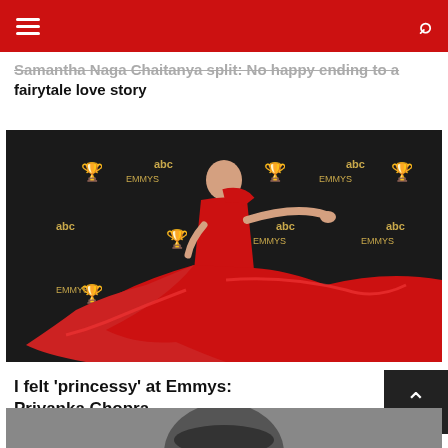Navigation bar with hamburger menu and search icon
Samantha Naga Chaitanya split: No happy ending to a fairytale love story
[Figure (photo): Priyanka Chopra in a flowing red one-shoulder gown spinning on the Emmy Awards red carpet with ABC and Emmys logos on backdrop]
I felt 'princessy' at Emmys: Priyanka Chopra
[Figure (photo): Partial black and white photo visible at bottom of page]